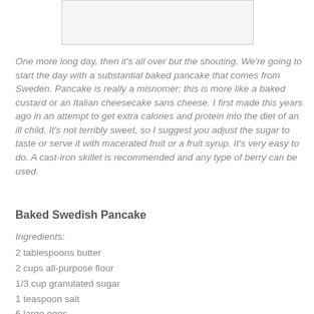[Figure (other): Blank/white image placeholder box at top of page]
One more long day, then it's all over but the shouting. We're going to start the day with a substantial baked pancake that comes from Sweden. Pancake is really a misnomer; this is more like a baked custard or an Italian cheesecake sans cheese. I first made this years ago in an attempt to get extra calories and protein into the diet of an ill child. It's not terribly sweet, so I suggest you adjust the sugar to taste or serve it with macerated fruit or a fruit syrup. It's very easy to do. A cast-iron skillet is recommended and any type of berry can be used.
Baked Swedish Pancake
Ingredients:
2 tablespoons butter
2 cups all-purpose flour
1/3 cup granulated sugar
1 teaspoon salt
6 large eggs